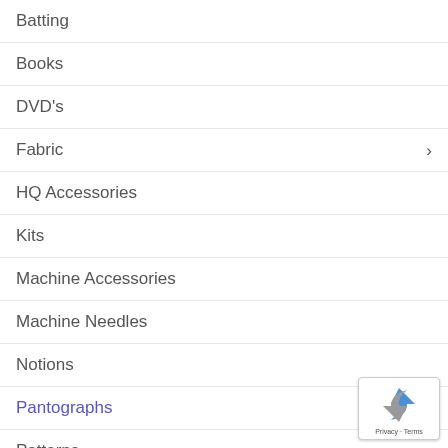Batting
Books
DVD's
Fabric
HQ Accessories
Kits
Machine Accessories
Machine Needles
Notions
Pantographs
Patterns
Rulers And Templates
Sale Items
Sew Ezi Products
Stencils
Teaching Events